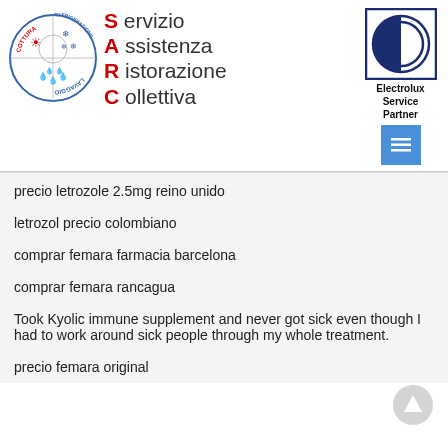[Figure (logo): SARC circular logo with cooking, refrigeration, washing icons and text. Also Electrolux Service Partner logo with menu button.]
precio letrozole 2.5mg reino unido
letrozol precio colombiano
comprar femara farmacia barcelona
comprar femara rancagua
Took Kyolic immune supplement and never got sick even though I had to work around sick people through my whole treatment.
precio femara original